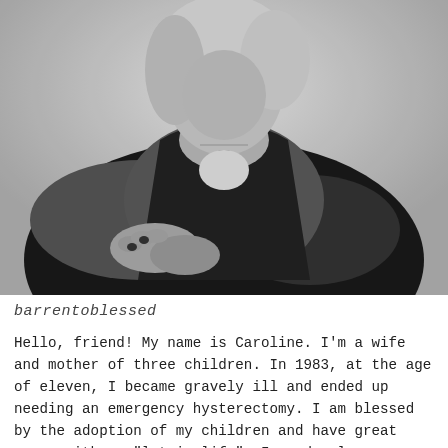[Figure (photo): Black and white photograph of a woman with blonde hair wearing a dark leather jacket and grey knit sweater, leaning forward with her hands clasped together, wearing a necklace with a small pendant, shot against a white background.]
barrentoblessed
Hello, friend! My name is Caroline. I'm a wife and mother of three children. In 1983, at the age of eleven, I became gravely ill and ended up needing an emergency hysterectomy. I am blessed by the adoption of my children and have great peace with my "lot in life". I am deeply passionate about encouraging others struggling with infertility and about advocacy